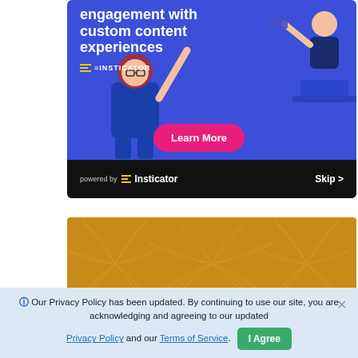[Figure (infographic): Insticator advertisement banner with blue background, white bold text reading 'engagement with custom content experiences', Insticator logo, a 'Learn More' pink button, illustrated characters, and a black footer bar with 'powered by Insticator' and 'Skip >' text.]
[Figure (illustration): Orange/golden decorative banner with abstract leaf/floral pattern outlines.]
Our Privacy Policy has been updated. By continuing to use our site, you are acknowledging and agreeing to our updated Privacy Policy and our Terms of Service.